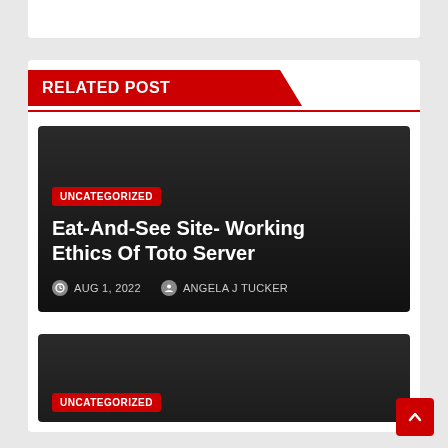RELATED POST
[Figure (screenshot): Dark card showing a blog post thumbnail with category badge 'UNCATEGORIZED', post title 'Eat-And-See Site- Working Ethics Of Toto Server', date 'AUG 1, 2022', and author 'ANGELA J TUCKER']
UNCATEGORIZED
Eat-And-See Site- Working Ethics Of Toto Server
AUG 1, 2022   ANGELA J TUCKER
[Figure (screenshot): Second dark card blog post thumbnail with 'UNCATEGORIZED' badge visible at bottom]
UNCATEGORIZED